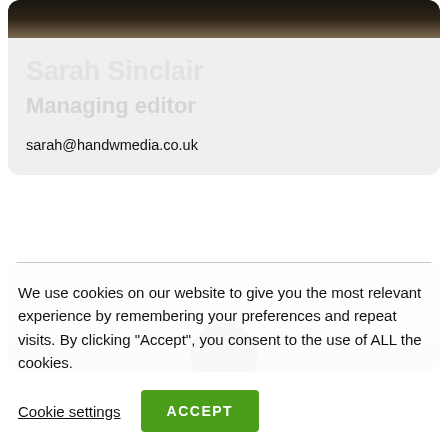[Figure (photo): Top portion of a black and white photo of Sarah Sinclair, cropped to show hair/top of head]
Sarah Sinclair
Managing editor
sarah@handwmedia.co.uk
[Figure (photo): Partial black and white photo of a second person, showing top of head]
We use cookies on our website to give you the most relevant experience by remembering your preferences and repeat visits. By clicking “Accept”, you consent to the use of ALL the cookies.
Cookie settings
ACCEPT